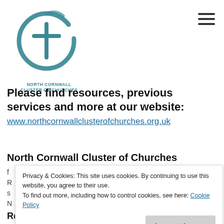[Figure (logo): North Cornwall Cluster of Churches logo — a teal brushstroke circle with a cross inside, and text below reading NORTH CORNWALL CLUSTER OF CHURCHES]
Please find resources, previous services and more at our website:
www.northcornwallclusterofchurches.org.uk
North Cornwall Cluster of Churches
Privacy & Cookies: This site uses cookies. By continuing to use this website, you agree to their use.
To find out more, including how to control cookies, see here: Cookie Policy
Close and accept
Rector: Elizabeth Wild. Tel: 07758 407661